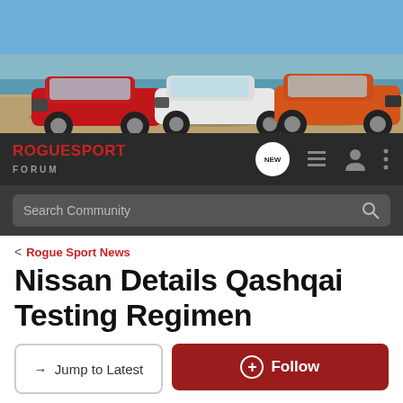[Figure (photo): Banner photo of three Nissan Rogue Sport/Qashqai SUVs parked near a beach — red on left, white in center, orange on right — against a blue sky and water backdrop.]
RogueSport FORUM
Search Community
< Rogue Sport News
Nissan Details Qashqai Testing Regimen
→ Jump to Latest
+ Follow
1 - 20 of 22 Posts
1 of 2 ▶